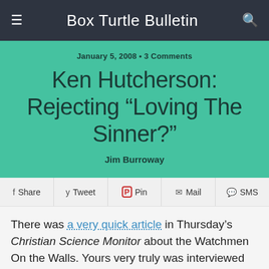Box Turtle Bulletin
Ken Hutcherson: Rejecting “Loving The Sinner?”
January 5, 2008 • 3 Comments
Jim Burroway
Share  Tweet  Pin  Mail  SMS
There was a very quick article in Thursday’s Christian Science Monitor about the Watchmen On the Walls. Yours very truly was interviewed for the story. The quote they used was a very quick one, about the Watchmen’s militancy and explicitly theocratic leanings. I wish reporter